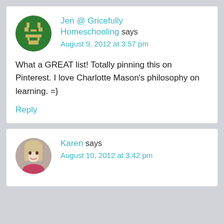[Figure (illustration): Pixel art alien/monster avatar on green circular background — comment avatar for Jen @ Gricefully Homeschooling]
Jen @ Gricefully Homeschooling says
August 9, 2012 at 3:57 pm
What a GREAT list! Totally pinning this on Pinterest. I love Charlotte Mason’s philosophy on learning. =}
Reply
[Figure (photo): Photo of Karen — woman with long blonde hair, circular avatar]
Karen says
August 10, 2012 at 3:42 pm